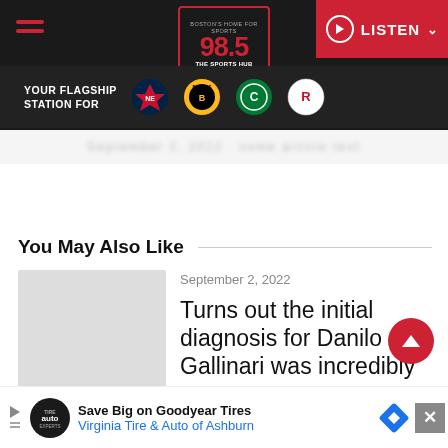98.5 The Sports Hub - Boston's Home for Sports
YOUR FLAGSHIP STATION FOR
September 2, 2022
You May Also Like
[Figure (photo): Thumbnail placeholder image (gray box)]
Turns out the initial diagnosis for Danilo Gallinari was incredibly wrong
Save Big on Goodyear Tires - Virginia Tire & Auto of Ashburn